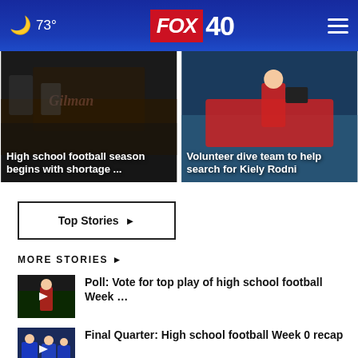73° FOX 40
[Figure (photo): High school football game at night, Gilman sign visible]
High school football season begins with shortage ...
[Figure (photo): Person in red on a boat with camera equipment]
Volunteer dive team to help search for Kiely Rodni
Top Stories ▸
MORE STORIES ▸
[Figure (photo): High school football player on field at night, thumbnail with play button]
Poll: Vote for top play of high school football Week …
[Figure (photo): High school football players in blue uniforms, thumbnail with play button]
Final Quarter: High school football Week 0 recap